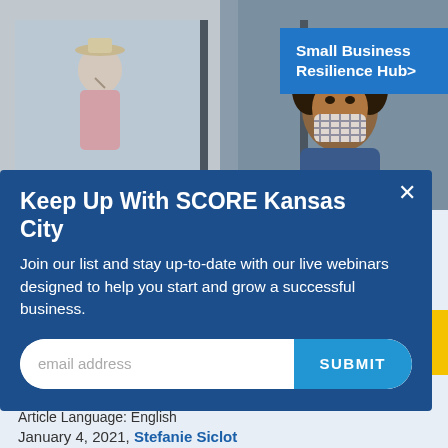[Figure (photo): Store window scene with mannequin in hat and pink outfit on left, and a woman wearing a checkered face mask on right, standing in front of a shop entrance]
Small Business Resilience Hub>
Keep Up With SCORE Kansas City
Join our list and stay up-to-date with our live webinars designed to help you start and grow a successful business.
email address  SUBMIT
Article Language: English
January 4, 2021, Stefanie Siclot
COVID-19 has not only changed human experiences,